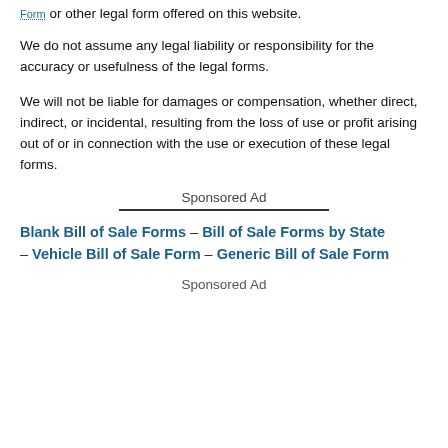Form or other legal form offered on this website.
We do not assume any legal liability or responsibility for the accuracy or usefulness of the legal forms.
We will not be liable for damages or compensation, whether direct, indirect, or incidental, resulting from the loss of use or profit arising out of or in connection with the use or execution of these legal forms.
Sponsored Ad
Blank Bill of Sale Forms – Bill of Sale Forms by State – Vehicle Bill of Sale Form – Generic Bill of Sale Form
Sponsored Ad